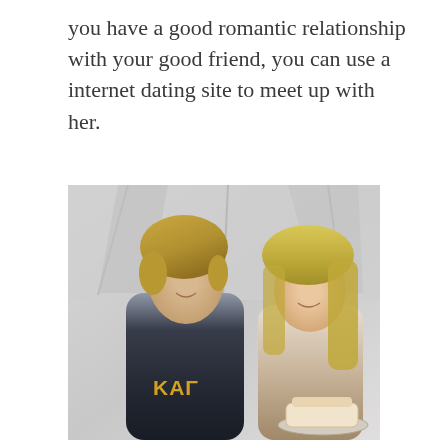you have a good romantic relationship with your good friend, you can use a internet dating site to meet up with her.
[Figure (photo): A young man with blond hair wearing a dark jacket with 'KAP' lettering and a young woman with long blond hair, both smiling and looking down at a plate with cake, standing in front of a white tent background.]